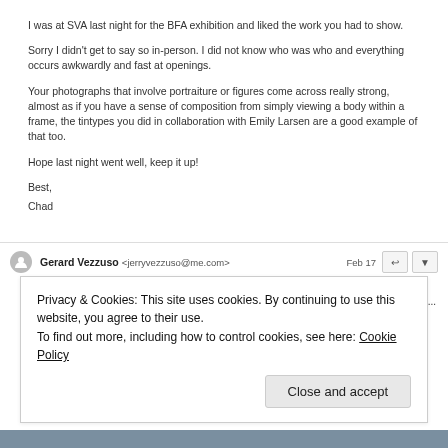I was at SVA last night for the BFA exhibition and liked the work you had to show.
Sorry I didn't get to say so in-person. I did not know who was who and everything occurs awkwardly and fast at openings.
Your photographs that involve portraiture or figures come across really strong, almost as if you have a sense of composition from simply viewing a body within a frame, the tintypes you did in collaboration with Emily Larsen are a good example of that too.
Hope last night went well, keep it up!
Best,
Chad
Gerard Vezzuso <jerryvezzuso@me.com>   Feb 17   to me
Dear Melissa just wanted to tell you I think your exhibit on the 2nd. floor SVA is fabulous...
The best I've seen in a long while.

Good luck
jerry v.
faculty.
Privacy & Cookies: This site uses cookies. By continuing to use this website, you agree to their use. To find out more, including how to control cookies, see here: Cookie Policy
Close and accept